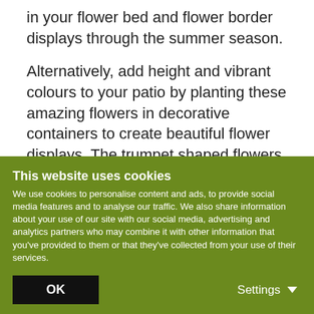in your flower bed and flower border displays through the summer season.
Alternatively, add height and vibrant colours to your patio by planting these amazing flowers in decorative containers to create beautiful flower displays. The trumpet shaped flowers bloom May–July and grow to a height of 40–50cm (16–20").
Growing Information
This website uses cookies
We use cookies to personalise content and ads, to provide social media features and to analyse our traffic. We also share information about your use of our site with our social media, advertising and analytics partners who may combine it with other information that you've provided to them or that they've collected from your use of their services.
OK
Settings